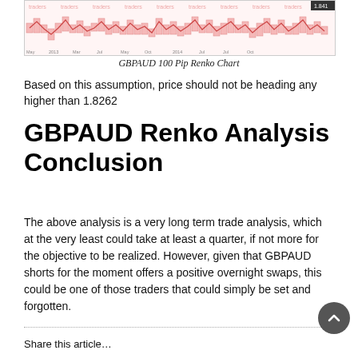[Figure (continuous-plot): GBPAUD 100 Pip Renko Chart showing price movement with watermark text 'traders' repeated across the chart. Pink/light colored candlestick-style renko blocks with a line overlay on a white background.]
GBPAUD 100 Pip Renko Chart
Based on this assumption, price should not be heading any higher than 1.8262
GBPAUD Renko Analysis Conclusion
The above analysis is a very long term trade analysis, which at the very least could take at least a quarter, if not more for the objective to be realized. However, given that GBPAUD shorts for the moment offers a positive overnight swaps, this could be one of those traders that could simply be set and forgotten.
Share this article…